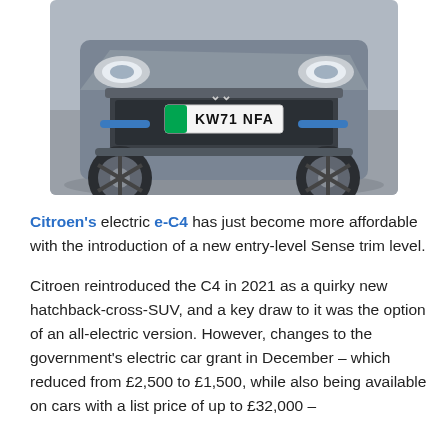[Figure (photo): Front view of a Citroën e-C4 electric car with registration plate KW71 NFA, photographed on a road surface. The car is grey/silver in colour with distinctive styling, blue accents, and alloy wheels.]
Citroen's electric e-C4 has just become more affordable with the introduction of a new entry-level Sense trim level.
Citroen reintroduced the C4 in 2021 as a quirky new hatchback-cross-SUV, and a key draw to it was the option of an all-electric version. However, changes to the government's electric car grant in December – which reduced from £2,500 to £1,500, while also being available on cars with a list price of up to £32,000 –